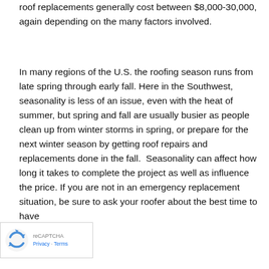roof replacements generally cost between $8,000-30,000, again depending on the many factors involved.
In many regions of the U.S. the roofing season runs from late spring through early fall. Here in the Southwest, seasonality is less of an issue, even with the heat of summer, but spring and fall are usually busier as people clean up from winter storms in spring, or prepare for the next winter season by getting roof repairs and replacements done in the fall.  Seasonality can affect how long it takes to complete the project as well as influence the price. If you are not in an emergency replacement situation, be sure to ask your roofer about the best time to have
[Figure (other): reCAPTCHA badge with rotating arrows logo and Privacy - Terms text]